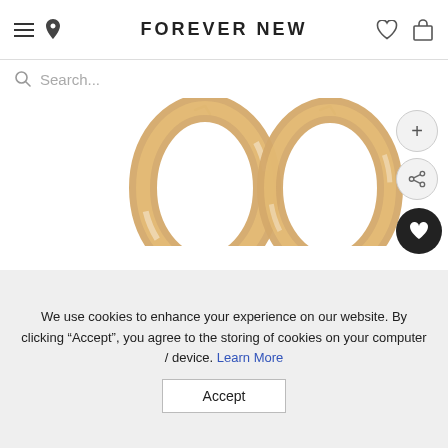FOREVER NEW
Search...
[Figure (photo): Two gold hoop earrings displayed on a white background. The earrings are chunky, polished gold hoops with post-style clasps visible at the top.]
We use cookies to enhance your experience on our website. By clicking “Accept”, you agree to the storing of cookies on your computer / device. Learn More
Accept